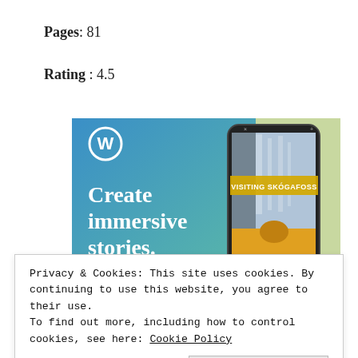Pages: 81
Rating : 4.5
[Figure (illustration): WordPress advertisement banner: blue gradient background on left with WordPress logo (W in circle) at top left, large white text 'Create immersive stories.' on left side. Right side shows a smartphone displaying a photo of a waterfall with overlay text 'VISITING SKÓGAFOSS'. Person in yellow jacket visible at bottom of phone screen.]
Privacy & Cookies: This site uses cookies. By continuing to use this website, you agree to their use.
To find out more, including how to control cookies, see here: Cookie Policy
Close and accept
The Blerb...